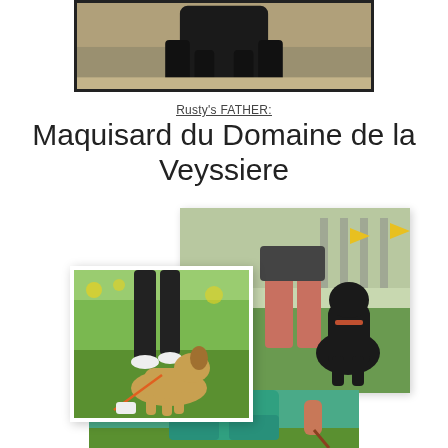[Figure (photo): Cropped close-up photo of a dark-colored dog with paws/legs visible, sandy ground background]
Rusty's FATHER:
Maquisard du Domaine de la Veyssiere
[Figure (photo): Two overlapping photos of dogs at what appears to be a dog show or training event: right photo shows a dark dog sitting next to a person's legs on grass with fencing in background; left/front photo shows a tan/fawn dog running or moving on grass near a person's legs]
[Figure (photo): Partial photo at bottom showing a person in teal/turquoise shorts holding a leash, on grass background]